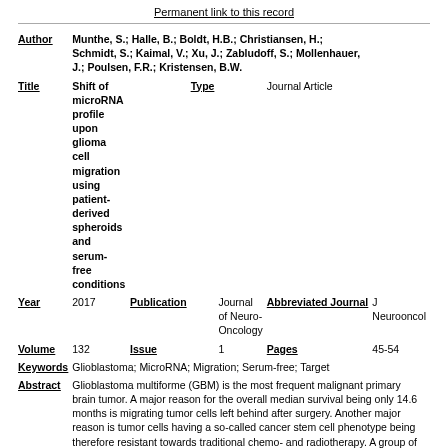Permanent link to this record
| Field | Value |
| --- | --- |
| Author | Munthe, S.; Halle, B.; Boldt, H.B.; Christiansen, H.; Schmidt, S.; Kaimal, V.; Xu, J.; Zabludoff, S.; Mollenhauer, J.; Poulsen, F.R.; Kristensen, B.W. |
| Title | Shift of microRNA profile upon glioma cell migration using patient-derived spheroids and serum-free conditions |
| Type | Journal Article |
| Year | 2017 |
| Publication | Journal of Neuro-Oncology |
| Abbreviated Journal | J Neurooncol |
| Volume | 132 |
| Issue | 1 |
| Pages | 45-54 |
| Keywords | Glioblastoma; MicroRNA; Migration; Serum-free; Target |
| Abstract | Glioblastoma multiforme (GBM) is the most frequent malignant primary brain tumor. A major reason for the overall median survival being only 14.6 months is migrating tumor cells left behind after surgery. Another major reason is tumor cells having a so-called cancer stem cell phenotype being therefore resistant towards traditional chemo- and radiotherapy. A group of novel molecular targets are microRNAs (miRNAs). MiRNAs are small non-coding RNAs exerting post-transcriptional regulation of gene expression. The aim of this study was to identify differentially expressed miRNAs in migrating GBM cells using serum-free stem cell conditions. We used patient-derived GBM spheroid cultures for a novel serum-free migration assay. MiRNA expression of migrating tumor cells isolated at maximum migration speed was compared |